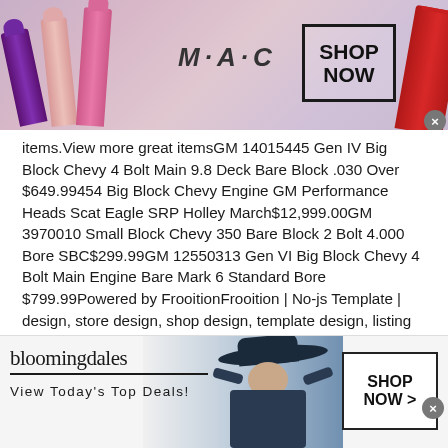[Figure (photo): MAC cosmetics advertisement banner with lipsticks in purple, pink, and red colors, MAC logo, and SHOP NOW box]
items.View more great itemsGM 14015445 Gen IV Big Block Chevy 4 Bolt Main 9.8 Deck Bare Block .030 Over $649.99454 Big Block Chevy Engine GM Performance Heads Scat Eagle SRP Holley March$12,999.00GM 3970010 Small Block Chevy 350 Bare Block 2 Bolt 4.000 Bore SBC$299.99GM 12550313 Gen VI Big Block Chevy 4 Bolt Main Engine Bare Mark 6 Standard Bore $799.99Powered by FrooitionFrooition | No-js Template | design, store design, shop design, template design, listing design (ver:froo_no_js)This listing is currently undergoing maintenance, we apologise for any inconvenience caused.
[Figure (infographic): Buy Now button - yellow/gold rounded pill-shaped button with italic bold text]
[Figure (photo): Bloomingdale's advertisement banner with woman in hat, View Today's Top Deals text, and SHOP NOW box]